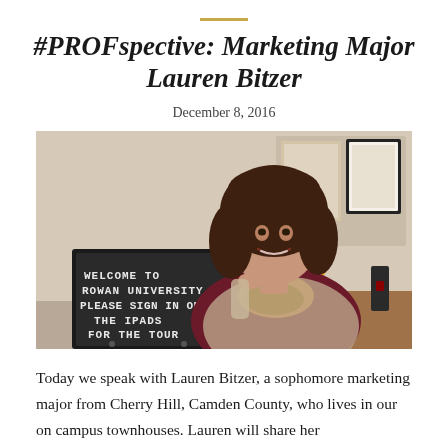#PROFspective: Marketing Major Lauren Bitzer
December 8, 2016
[Figure (photo): Young woman with curly brown hair, wearing a burgundy top, patterned scarf, and beige knit cardigan, smiling and holding a black letter board sign that reads 'WELCOME TO ROWAN UNIVERSITY PLEASE SIGN IN ON THE IPADS FOR THE TOUR'. She is standing in an office environment with a bulletin board and framed items visible in the background.]
Today we speak with Lauren Bitzer, a sophomore marketing major from Cherry Hill, Camden County, who lives in our on campus townhouses. Lauren will share her #PROFspective